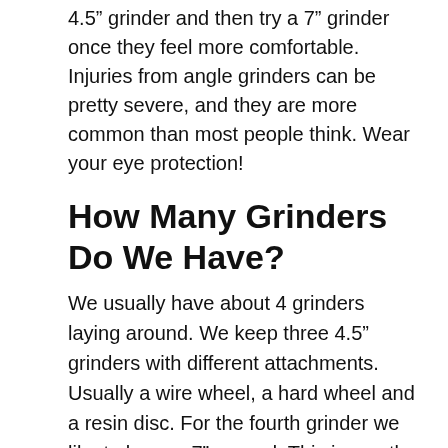4.5" grinder and then try a 7" grinder once they feel more comfortable. Injuries from angle grinders can be pretty severe, and they are more common than most people think. Wear your eye protection!
How Many Grinders Do We Have?
We usually have about 4 grinders laying around. We keep three 4.5" grinders with different attachments. Usually a wire wheel, a hard wheel and a resin disc. For the fourth grinder we like to keep a 7" around. This is mostly used for structural projects where we need to grind large surface areas.
What Are The Best Brands of